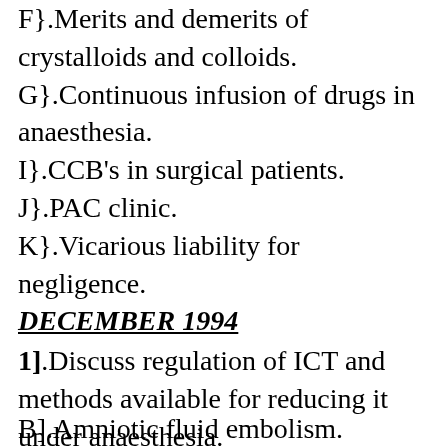F}.Merits and demerits of crystalloids and colloids.
G}.Continuous infusion of drugs in anaesthesia.
I}.CCB's in surgical patients.
J}.PAC clinic.
K}.Vicarious liability for negligence.
DECEMBER 1994
1].Discuss regulation of ICT and methods available for reducing it under anaesthesia.
2].Discuss pre and post anaesthetic management of acute abdomen in a patient with uncontrolled diabetes.
3].Briefly describe the following:-
A}.Nephrotoxicity of halogenated anaesthesia.
B].Amniotic fluid embolism.